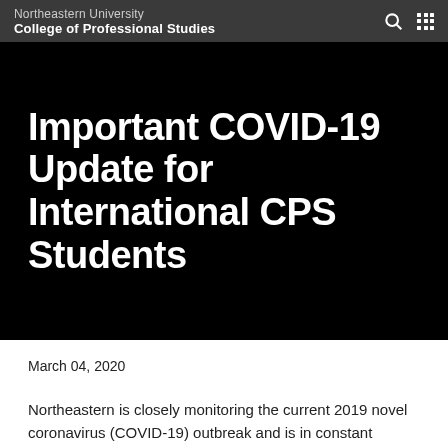Northeastern University
College of Professional Studies
Important COVID-19 Update for International CPS Students
March 04, 2020
Northeastern is closely monitoring the current 2019 novel coronavirus (COVID-19) outbreak and is in constant